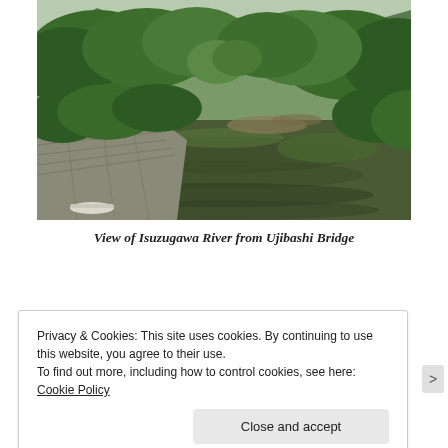[Figure (photo): Aerial view of Isuzugawa River flanked by dense green trees and hills, with a stone retaining wall on the left bank. The river reflects the surrounding greenery. A small white boat is visible at the lower left.]
View of Isuzugawa River from Ujibashi Bridge
Privacy & Cookies: This site uses cookies. By continuing to use this website, you agree to their use.
To find out more, including how to control cookies, see here: Cookie Policy
Close and accept